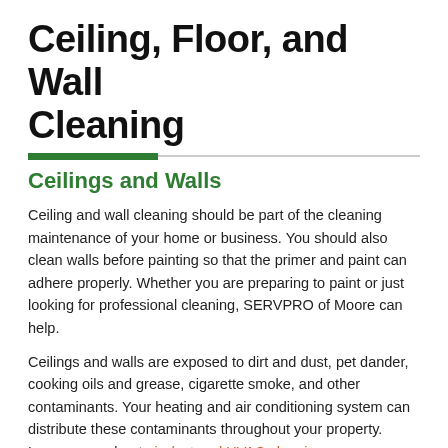Ceiling, Floor, and Wall Cleaning
Ceilings and Walls
Ceiling and wall cleaning should be part of the cleaning maintenance of your home or business. You should also clean walls before painting so that the primer and paint can adhere properly. Whether you are preparing to paint or just looking for professional cleaning, SERVPRO of Moore can help.
Ceilings and walls are exposed to dirt and dust, pet dander, cooking oils and grease, cigarette smoke, and other contaminants. Your heating and air conditioning system can distribute these contaminants throughout your property. Learn more about air duct and HVAC cleaning.
Using SERVPRO's time-tested and industry-approved steps, along with our proprietary cleaning products and methods, we strive to restore your ceilings and walls without the need to repaint or refinish and to help them retain a more wall-...